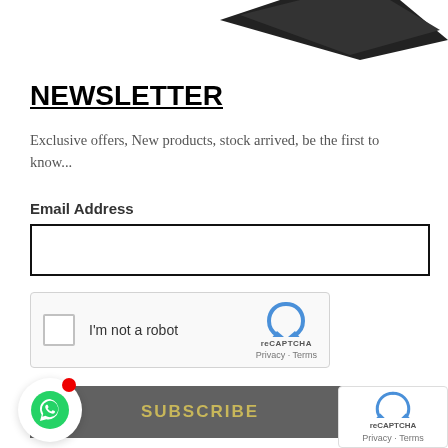[Figure (photo): Partial product image at top of page, dark object on white background]
NEWSLETTER
Exclusive offers, New products, stock arrived, be the first to know...
Email Address
[Figure (other): Empty email address input field with thick black border]
[Figure (other): reCAPTCHA widget with checkbox labeled 'I'm not a robot' and reCAPTCHA logo with Privacy - Terms text]
[Figure (other): WhatsApp icon button with red notification dot]
[Figure (other): SUBSCRIBE button in dark gray bar with gold/yellow text]
[Figure (other): reCAPTCHA overlay widget in bottom right corner showing logo and Privacy - Terms]